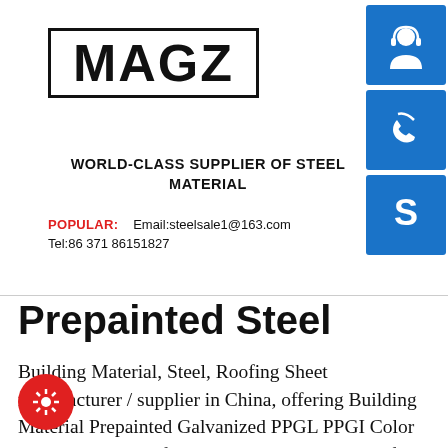[Figure (logo): MAGZ logo in bold black text inside a rectangular border]
[Figure (illustration): Blue square button with white customer service headset icon]
[Figure (illustration): Blue square button with white phone icon]
[Figure (illustration): Blue square button with white Skype 'S' icon]
WORLD-CLASS SUPPLIER OF STEEL MATERIAL
POPULAR:  Email:steelsale1@163.com
Tel:86 371 86151827
Prepainted Steel
Building Material, Steel, Roofing Sheet manufacturer / supplier in China, offering Building Material Prepainted Galvanized PPGL PPGI Color Coated Metal Roof Sheet Corrugated Steel Roofing Sheet for Cheap, Good Price, Rental Goods, Hot...